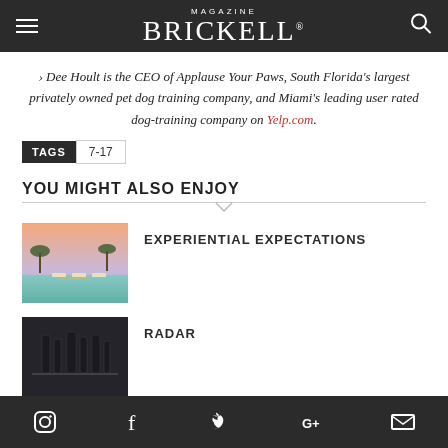MAGAZINE BRICKELL
› Dee Hoult is the CEO of Applause Your Paws, South Florida's largest privately owned pet dog training company, and Miami's leading user rated dog-training company on Yelp.com.
TAGS  7-17
YOU MIGHT ALSO ENJOY
[Figure (photo): Aerial/dusk view of a resort pool area with lounge chairs]
EXPERIENTIAL EXPECTATIONS
[Figure (photo): Dark-toned photo, possibly bottles or bar scene]
RADAR
Instagram, Facebook, Twitter, Google+, Email icons